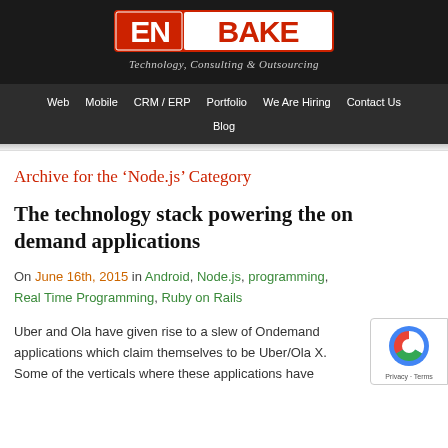[Figure (logo): ENBAKE logo with red and white text on dark background, tagline 'Technology, Consulting & Outsourcing']
Web | Mobile | CRM / ERP | Portfolio | We Are Hiring | Contact Us | Blog
Archive for the 'Node.js' Category
The technology stack powering the on demand applications
On June 16th, 2015 in Android, Node.js, programming, Real Time Programming, Ruby on Rails
Uber and Ola have given rise to a slew of Ondemand applications which claim themselves to be Uber/Ola X. Some of the verticals where these applications have